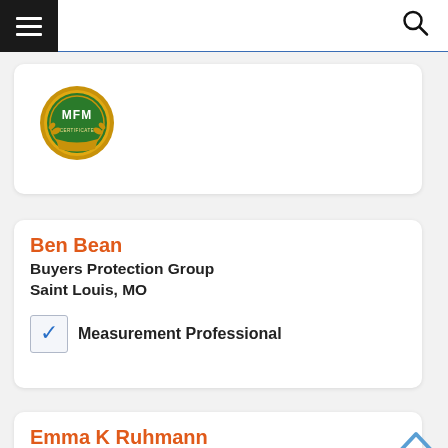Navigation bar with hamburger menu and search icon
[Figure (logo): MFM green and gold circular badge/seal logo]
Ben Bean
Buyers Protection Group
Saint Louis, MO
Measurement Professional (checked)
Emma K Ruhmann
Partner Engineering and Science, Inc.
Saint Peters, MO